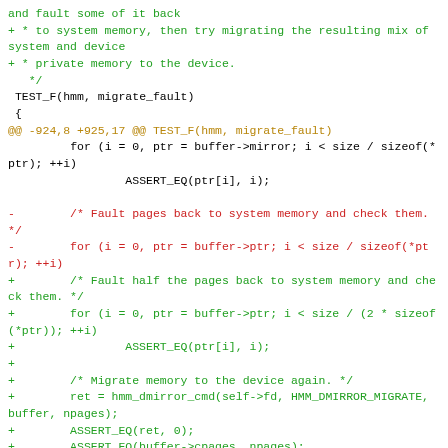Diff/patch code block showing git diff for hmm migrate_fault test